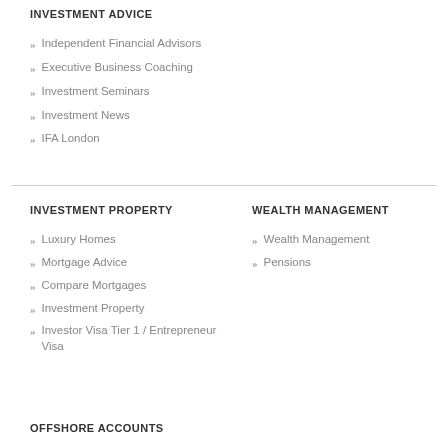INVESTMENT ADVICE
Independent Financial Advisors
Executive Business Coaching
Investment Seminars
Investment News
IFA London
INVESTMENT PROPERTY
Luxury Homes
Mortgage Advice
Compare Mortgages
Investment Property
Investor Visa Tier 1 / Entrepreneur Visa
WEALTH MANAGEMENT
Wealth Management
Pensions
OFFSHORE ACCOUNTS